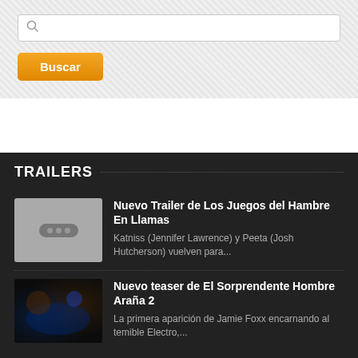[Figure (screenshot): Search box with magnifying glass icon and white input field]
[Figure (screenshot): Orange Buscar (Search) button]
TRAILERS
Nuevo Trailer de Los Juegos del Hambre En Llamas
Katniss (Jennifer Lawrence) y Peeta (Josh Hutcherson) vuelven para...
Nuevo teaser de El Sorprendente Hombre Araña 2
La primera aparición de Jamie Foxx encarnando al temible Electro,...